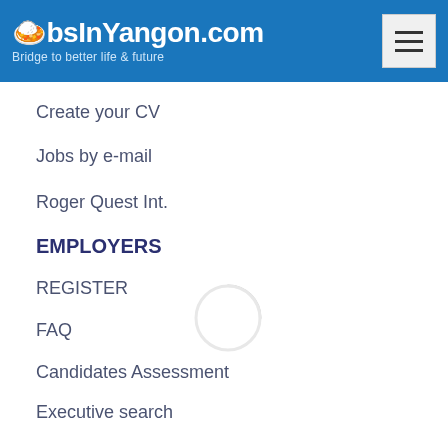JobsInYangon.com — Bridge to better life & future
Create your CV
Jobs by e-mail
Roger Quest Int.
EMPLOYERS
REGISTER
FAQ
Candidates Assessment
Executive search
Affiliate
Advertising
MyJoboo
Yangonjobseeker
Myanmar Expatjobs
ABOUT US